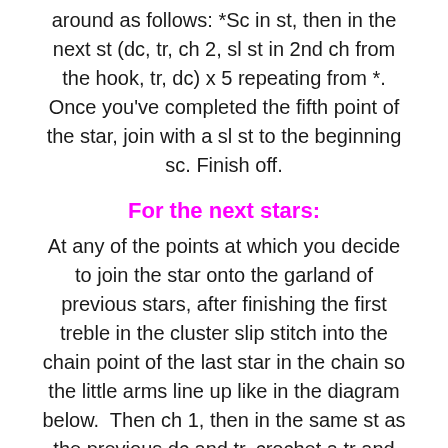around as follows: *Sc in st, then in the next st (dc, tr, ch 2, sl st in 2nd ch from the hook, tr, dc) x 5 repeating from *. Once you've completed the fifth point of the star, join with a sl st to the beginning sc. Finish off.
For the next stars:
At any of the points at which you decide to join the star onto the garland of previous stars, after finishing the first treble in the cluster slip stitch into the chain point of the last star in the chain so the little arms line up like in the diagram below.  Then ch 1, then in the same st as the previous dc and tr, crochet a tr and dc.
It will be just like the other points except you are substituting the first chain for the slip stitch to the last...